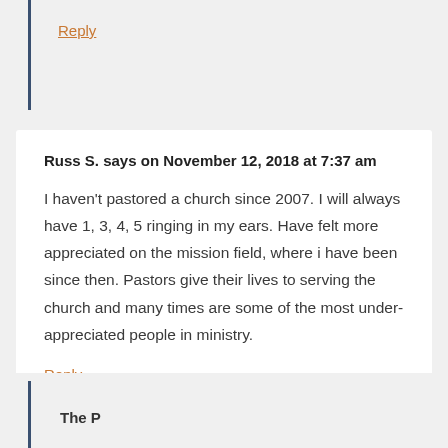Reply
Russ S. says on November 12, 2018 at 7:37 am
I haven't pastored a church since 2007. I will always have 1, 3, 4, 5 ringing in my ears. Have felt more appreciated on the mission field, where i have been since then. Pastors give their lives to serving the church and many times are some of the most under-appreciated people in ministry.
Reply
The P...